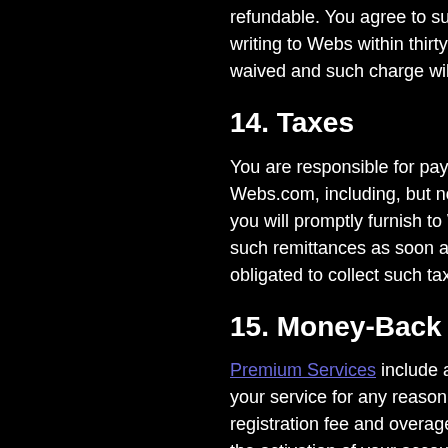refundable. You agree to submit any dispute in writing to Webs within thirty (30) days of such waived and such charge will be final and no
14. Taxes
You are responsible for paying any government Webs.com, including, but not limited to, sale you will promptly furnish to Webs the applica such remittances as soon as reasonably pra obligated to collect such taxes, the applicab
15. Money-Back Guarantee
Premium Services include a 30-day money- your service for any reason, you will receive registration fee and overage charges) if you the activation of your account. The 30-day m domain name registration or other Paid Serv name, you are its owner and it cannot be "re
16. Webs Credits; Credit Sho
You may purchase or earn credits on Webs. to receive various goods and services throu Even though we may use terms like "purcha transactions related to Webs Credits, we do